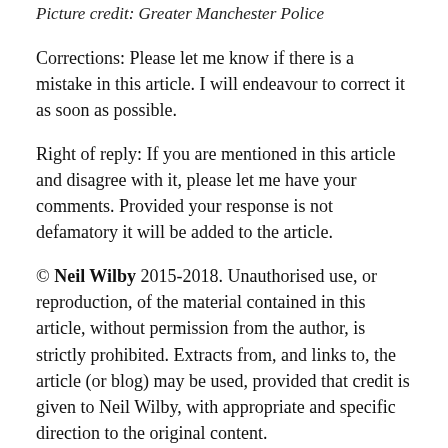Picture credit: Greater Manchester Police
Corrections: Please let me know if there is a mistake in this article. I will endeavour to correct it as soon as possible.
Right of reply: If you are mentioned in this article and disagree with it, please let me have your comments. Provided your response is not defamatory it will be added to the article.
© Neil Wilby 2015-2018. Unauthorised use, or reproduction, of the material contained in this article, without permission from the author, is strictly prohibited. Extracts from, and links to, the article (or blog) may be used, provided that credit is given to Neil Wilby, with appropriate and specific direction to the original content.